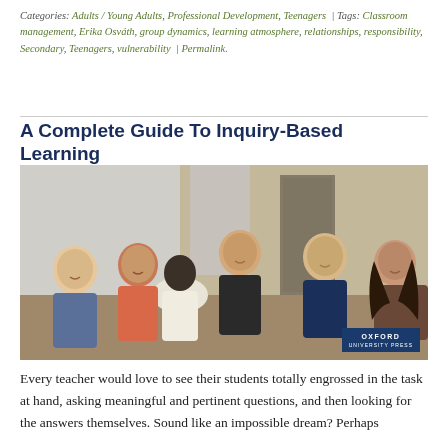Categories: Adults / Young Adults, Professional Development, Teenagers | Tags: Classroom management, Erika Osváth, group dynamics, learning atmosphere, relationships, responsibility, Secondary, Teenagers, vulnerability | Permalink.
A Complete Guide To Inquiry-Based Learning
[Figure (photo): Group of five teenagers sitting in a circle, smiling and engaged in discussion with a teacher/adult seen from behind. Oxford University Press watermark visible in bottom right corner.]
Every teacher would love to see their students totally engrossed in the task at hand, asking meaningful and pertinent questions, and then looking for the answers themselves. Sound like an impossible dream? Perhaps